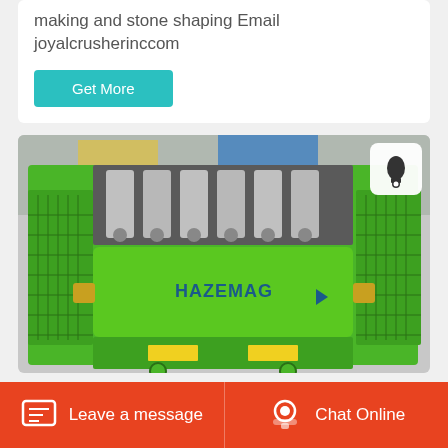making and stone shaping Email joyalcrusherinccom
Get More
[Figure (photo): Green HAZEMAG industrial impact crusher/shredder machine photographed from above in a factory setting, showing hammer bars at the top and the HAZEMAG branded rotor drum in the center.]
Leave a message   Chat Online